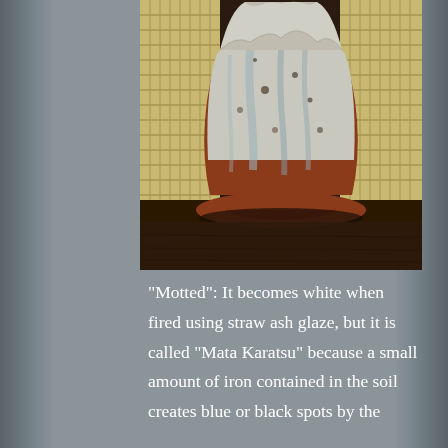[Figure (photo): A ceramic sake cup or chawan (tea bowl) in the Karatsu style with mottled white glaze over a reddish-brown clay body, sitting on a dark wooden surface with a woven bamboo mat visible in the background.]
"Motted": It becomes white when fired using straw ash glaze, but it is called "Mata Karatsu" because a small amount of iron contained in the soil creates blue or black spots by the